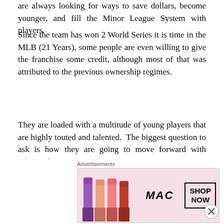are always looking for ways to save dollars, become younger, and fill the Minor League System with players.
Since the team has won 2 World Series it is time in the MLB (21 Years), some people are even willing to give the franchise some credit, although most of that was attributed to the previous ownership regimes.
They are loaded with a multitude of young players that are highly touted and talented. The biggest question to ask is how they are going to move forward with Giancarlo Stanton?
2014 will be an interesting campaign for Miami. They have to hope that a lot of their several young players ca
[Figure (advertisement): MAC Cosmetics advertisement banner showing lipsticks with SHOP NOW button]